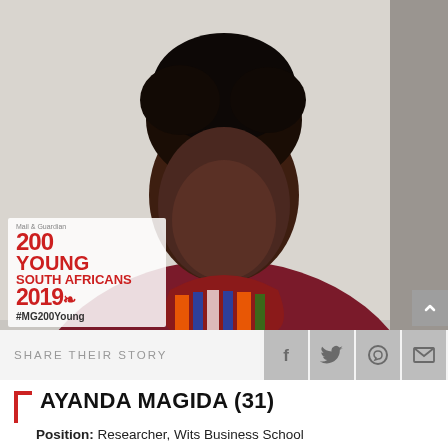[Figure (photo): Portrait photo of Ayanda Magida, a young woman wearing a dark red/maroon blazer and colorful striped scarf, smiling. Background is light grey/beige. Overlaid with Mail & Guardian 200 Young South Africans 2019 logo and #MG200Young hashtag.]
SHARE THEIR STORY
AYANDA MAGIDA (31)
Position: Researcher, Wits Business School